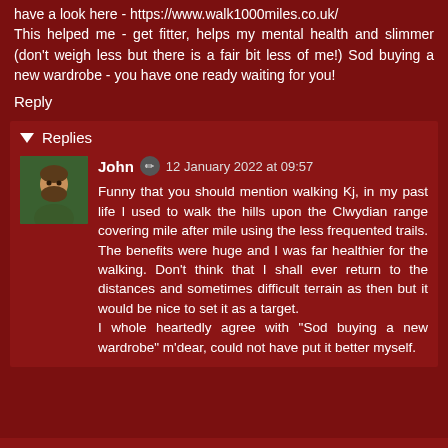have a look here - https://www.walk1000miles.co.uk/ This helped me - get fitter, helps my mental health and slimmer (don't weigh less but there is a fair bit less of me!) Sod buying a new wardrobe - you have one ready waiting for you!
Reply
Replies
John  12 January 2022 at 09:57
Funny that you should mention walking Kj, in my past life I used to walk the hills upon the Clwydian range covering mile after mile using the less frequented trails. The benefits were huge and I was far healthier for the walking. Don't think that I shall ever return to the distances and sometimes difficult terrain as then but it would be nice to set it as a target. I whole heartedly agree with "Sod buying a new wardrobe" m'dear, could not have put it better myself.